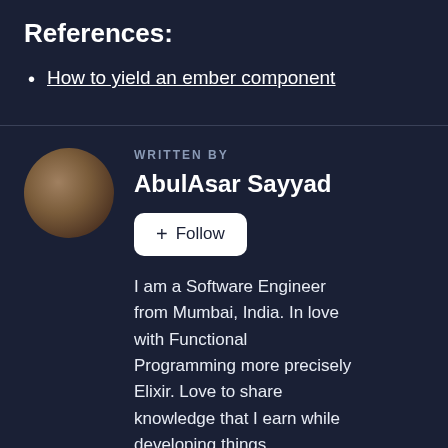References:
How to yield an ember component
WRITTEN BY
AbulAsar Sayyad
+ Follow
I am a Software Engineer from Mumbai, India. In love with Functional Programming more precisely Elixir. Love to share knowledge that I earn while developing things.